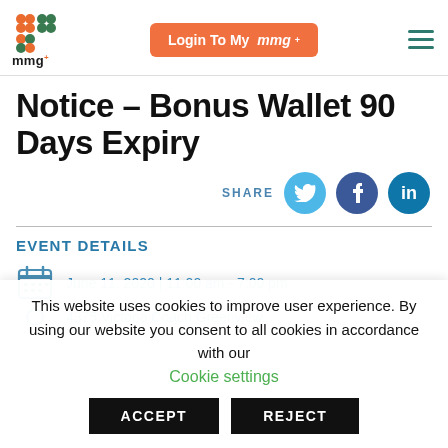[Figure (logo): MMG+ logo with orange and green geometric pattern and text 'mmg+' below]
[Figure (screenshot): Login To My mmg+ orange button]
Notice – Bonus Wallet 90 Days Expiry
EVENT DETAILS
June 11, 2020 | 11:00 am - 7:00 pm
This website uses cookies to improve user experience. By using our website you consent to all cookies in accordance with our
Cookie settings
ACCEPT
REJECT